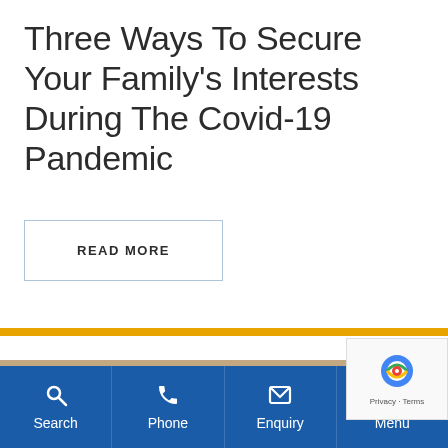Three Ways To Secure Your Family's Interests During The Covid-19 Pandemic
READ MORE
[Figure (photo): Photo of a person's hands, partially visible, with dark painted nails against a blurred background]
Search | Phone | Enquiry | Menu